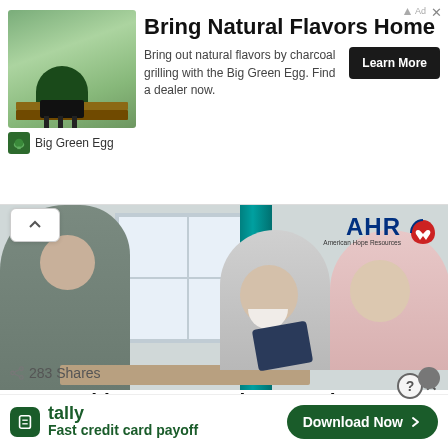[Figure (infographic): Big Green Egg advertisement banner with grill image, brand logo, headline 'Bring Natural Flavors Home', description text, and Learn More button]
[Figure (photo): Photo of elderly couple smiling looking at a tablet, with a younger person across from them, AHR (American Hope Resources) logo overlay in top right, teal curtain and window in background]
283 Shares
Top Health Programs That American Hope
[Figure (infographic): Tally advertisement: 'Fast credit card payoff' with green Tally logo icon and 'Download Now' button, with close/help buttons]